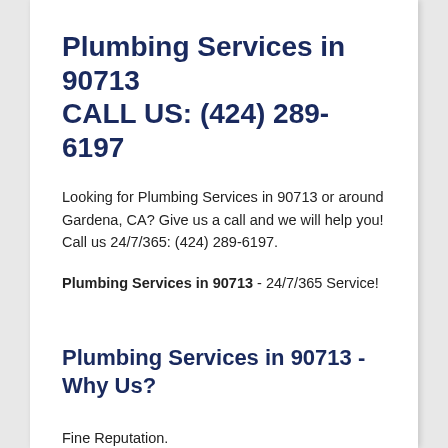Plumbing Services in 90713 CALL US: (424) 289-6197
Looking for Plumbing Services in 90713 or around Gardena, CA? Give us a call and we will help you! Call us 24/7/365: (424) 289-6197.
Plumbing Services in 90713 - 24/7/365 Service!
Plumbing Services in 90713 - Why Us?
Fine Reputation.
Licensed And Insured.